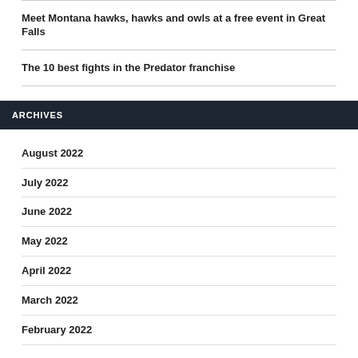Meet Montana hawks, hawks and owls at a free event in Great Falls
The 10 best fights in the Predator franchise
ARCHIVES
August 2022
July 2022
June 2022
May 2022
April 2022
March 2022
February 2022